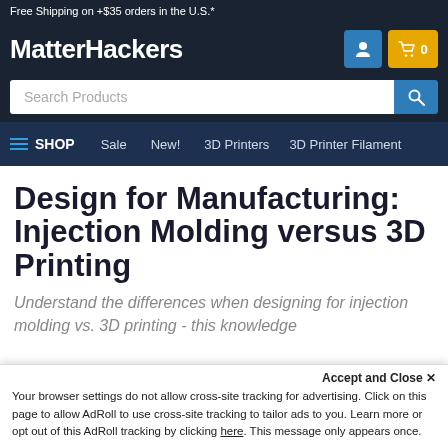Free Shipping on +$35 orders in the U.S.*
MatterHackers
Search Products
SHOP  Sale  New!  3D Printers  3D Printer Filament
Design for Manufacturing: Injection Molding versus 3D Printing
Understand the differences when designing for injection molding vs. 3D printing - this knowledge will help you make the best manufacturing choice.
Accept and Close ✕
Your browser settings do not allow cross-site tracking for advertising. Click on this page to allow AdRoll to use cross-site tracking to tailor ads to you. Learn more or opt out of this AdRoll tracking by clicking here. This message only appears once.